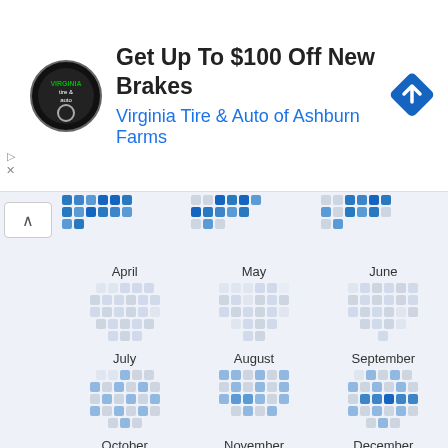[Figure (other): Advertisement banner for Virginia Tire & Auto of Ashburn Farms offering up to $100 off new brakes, with circular logo and blue navigation diamond icon]
[Figure (other): Year calendar view showing monthly grids of colored squares representing activity/heat data for months from a partial top row (Jan-Mar partial), then April through December, with blue intensity indicating activity levels]